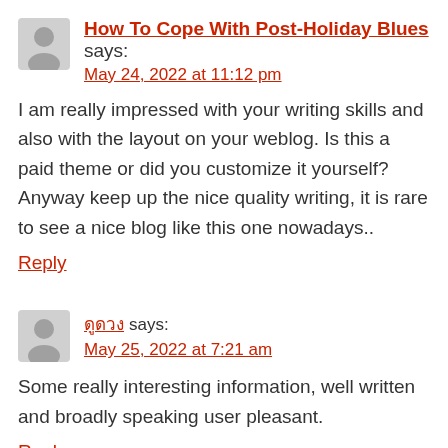How To Cope With Post-Holiday Blues says: May 24, 2022 at 11:12 pm
I am really impressed with your writing skills and also with the layout on your weblog. Is this a paid theme or did you customize it yourself? Anyway keep up the nice quality writing, it is rare to see a nice blog like this one nowadays..
Reply
ดูดวง says: May 25, 2022 at 7:21 am
Some really interesting information, well written and broadly speaking user pleasant.
Reply